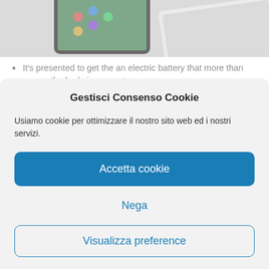[Figure (photo): Partial view of tablet and laptop devices from above]
It's presented to get the an electric battery that more than covers the body incorporate.
Application is which can portion of a laptop that may includes protected meaning alongside desktop computer information, in contrast to your very own physical components where the
Gestisci Consenso Cookie
Usiamo cookie per ottimizzare il nostro sito web ed i nostri servizi.
Accetta cookie
Nega
Visualizza preference